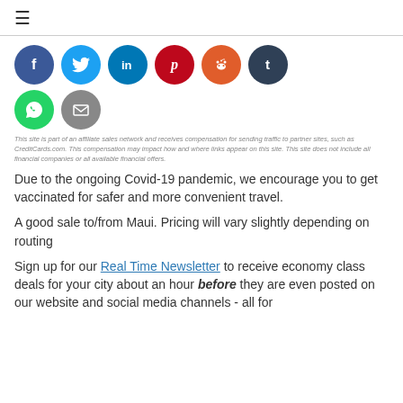≡
[Figure (illustration): Row of social media share buttons as colored circles: Facebook (dark blue, f), Twitter (light blue, bird), LinkedIn (teal, in), Pinterest (red, p), Reddit (orange, alien), Tumblr (dark slate, t), WhatsApp (green, speech bubble), Email (gray, envelope)]
This site is part of an affiliate sales network and receives compensation for sending traffic to partner sites, such as CreditCards.com. This compensation may impact how and where links appear on this site. This site does not include all financial companies or all available financial offers.
Due to the ongoing Covid-19 pandemic, we encourage you to get vaccinated for safer and more convenient travel.
A good sale to/from Maui. Pricing will vary slightly depending on routing
Sign up for our Real Time Newsletter to receive economy class deals for your city about an hour before they are even posted on our website and social media channels - all for